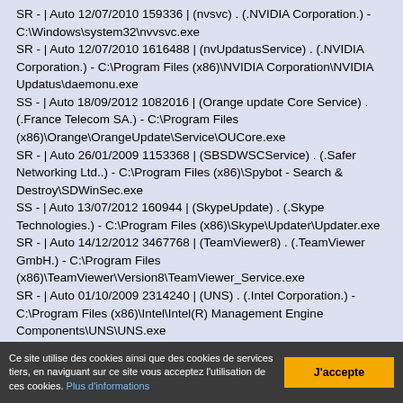SR - | Auto 12/07/2010 159336 | (nvsvc) . (.NVIDIA Corporation.) - C:\Windows\system32\nvvsvc.exe
SR - | Auto 12/07/2010 1616488 | (nvUpdatusService) . (.NVIDIA Corporation.) - C:\Program Files (x86)\NVIDIA Corporation\NVIDIA Updatus\daemonu.exe
SS - | Auto 18/09/2012 1082016 | (Orange update Core Service) . (.France Telecom SA.) - C:\Program Files (x86)\Orange\OrangeUpdate\Service\OUCore.exe
SR - | Auto 26/01/2009 1153368 | (SBSDWSCService) . (.Safer Networking Ltd..) - C:\Program Files (x86)\Spybot - Search & Destroy\SDWinSec.exe
SS - | Auto 13/07/2012 160944 | (SkypeUpdate) . (.Skype Technologies.) - C:\Program Files (x86)\Skype\Updater\Updater.exe
SR - | Auto 14/12/2012 3467768 | (TeamViewer8) . (.TeamViewer GmbH.) - C:\Program Files (x86)\TeamViewer\Version8\TeamViewer_Service.exe
SR - | Auto 01/10/2009 2314240 | (UNS) . (.Intel Corporation.) - C:\Program Files (x86)\Intel\Intel(R) Management Engine Components\UNS\UNS.exe
Ce site utilise des cookies ainsi que des cookies de services tiers, en naviguant sur ce site vous acceptez l'utilisation de ces cookies. Plus d'informations
J'accepte